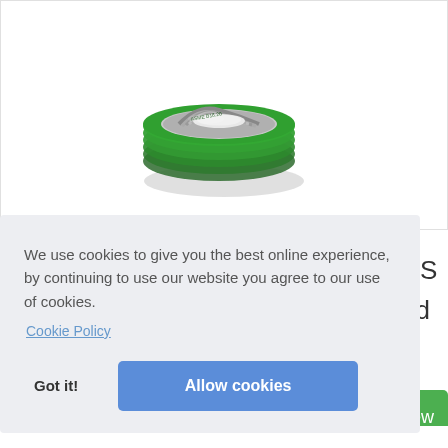[Figure (photo): Spiral wound gasket with green outer ring and silver/metallic inner spiral winding, shown from above at a slight angle. Multiple layered gaskets stacked together.]
IAAS
rned
We use cookies to give you the best online experience, by continuing to use our website you agree to our use of cookies.
Cookie Policy
Got it!
Allow cookies
iew